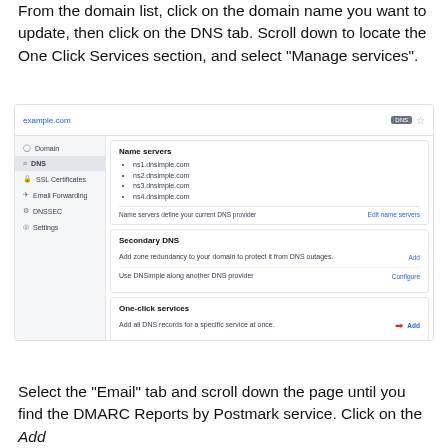From the domain list, click on the domain name you want to update, then click on the DNS tab. Scroll down to locate the One Click Services section, and select “Manage services”.
[Figure (screenshot): Screenshot of DNSimple DNS management interface showing example.com with sidebar navigation (Domain, DNS selected, SSL Certificates, Email Forwarding, DNSSEC, Settings) and main panel with Name servers, Secondary DNS, and One-click services cards. A red arrow points to the Add link in the One-click services section.]
Select the “Email” tab and scroll down the page until you find the DMARC Reports by Postmark service. Click on the Add